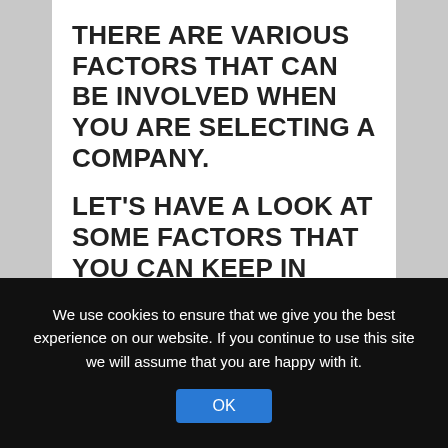THERE ARE VARIOUS FACTORS THAT CAN BE INVOLVED WHEN YOU ARE SELECTING A COMPANY.
LET'S HAVE A LOOK AT SOME FACTORS THAT YOU CAN KEEP IN MIND WHEN SELECTING A MOVER:
1. For how long have they been in business?
Experience is one of the most important factors when it comes to selecting a mover. Moreover, if they have been in business for long, you will be able
We use cookies to ensure that we give you the best experience on our website. If you continue to use this site we will assume that you are happy with it.